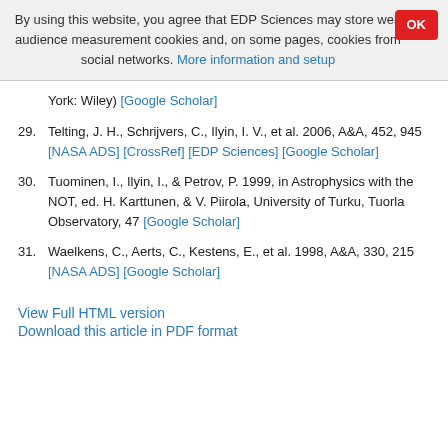By using this website, you agree that EDP Sciences may store web audience measurement cookies and, on some pages, cookies from social networks. More information and setup
York: Wiley) [Google Scholar]
29. Telting, J. H., Schrijvers, C., Ilyin, I. V., et al. 2006, A&A, 452, 945 [NASA ADS] [CrossRef] [EDP Sciences] [Google Scholar]
30. Tuominen, I., Ilyin, I., & Petrov, P. 1999, in Astrophysics with the NOT, ed. H. Karttunen, & V. Piirola, University of Turku, Tuorla Observatory, 47 [Google Scholar]
31. Waelkens, C., Aerts, C., Kestens, E., et al. 1998, A&A, 330, 215 [NASA ADS] [Google Scholar]
View Full HTML version
Download this article in PDF format